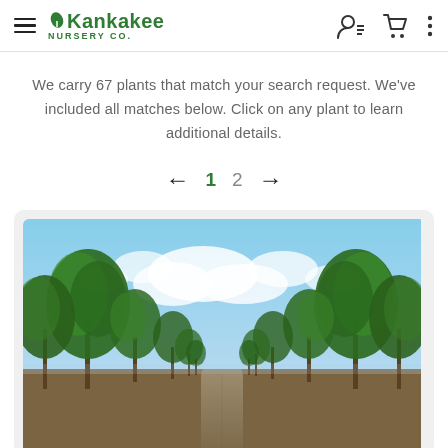Kankakee Nursery Co.
We carry 67 plants that match your search request. We've included all matches below. Click on any plant to learn additional details.
← 1 2 →
[Figure (photo): Rows of trees in a nursery field under a partly cloudy blue sky, viewed from a center path perspective]